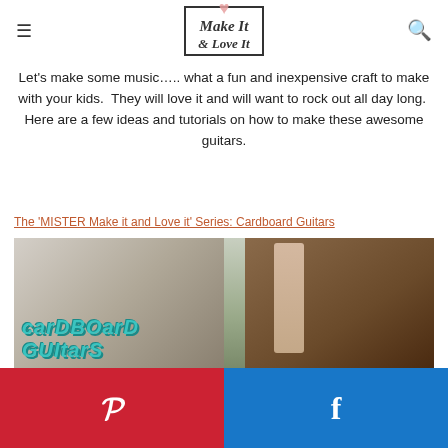Make It & LOVE IT
Let's make some music….. what a fun and inexpensive craft to make with your kids.  They will love it and will want to rock out all day long.  Here are a few ideas and tutorials on how to make these awesome guitars.
The 'MISTER Make it and Love it' Series: Cardboard Guitars
[Figure (photo): Photo of cardboard guitars leaning against a tree with text 'cardboard guitars' overlaid in teal lettering]
[Figure (infographic): Social share bar with Pinterest (red) and Facebook (blue) buttons]